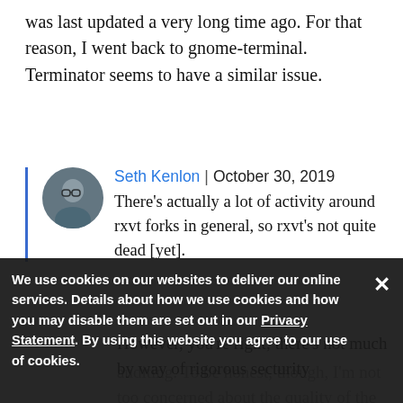was last updated a very long time ago. For that reason, I went back to gnome-terminal. Terminator seems to have a similar issue.
Seth Kenlon | October 30, 2019
There's actually a lot of activity around rxvt forks in general, so rxvt's not quite dead [yet].
However, you're right; there's not much by way of rigorous secturity auditing. To be honest, though, I'm not too concerned about the quality of the code...
We use cookies on our websites to deliver our online services. Details about how we use cookies and how you may disable them are set out in our Privacy Statement. By using this website you agree to our use of cookies.